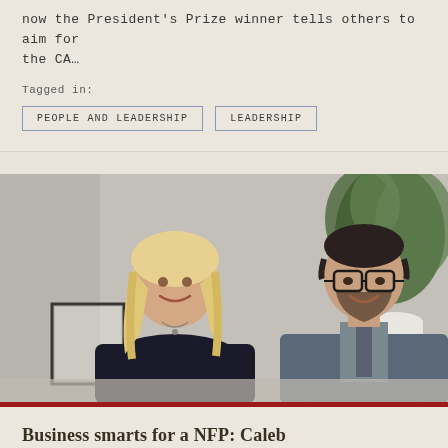now the President's Prize winner tells others to aim for the CA…
Tagged in:
PEOPLE AND LEADERSHIP
LEADERSHIP
[Figure (photo): Two people smiling — a blonde woman in a dark sweater and a man with glasses in a grey blazer, seated in front of a plant backdrop]
Business smarts for a NFP: Caleb